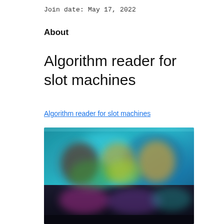Join date: May 17, 2022
About
Algorithm reader for slot machines
Algorithm reader for slot machines
[Figure (screenshot): A blurred screenshot of a slot machine or gaming interface with colorful graphics, showing character icons and game elements on a dark background.]